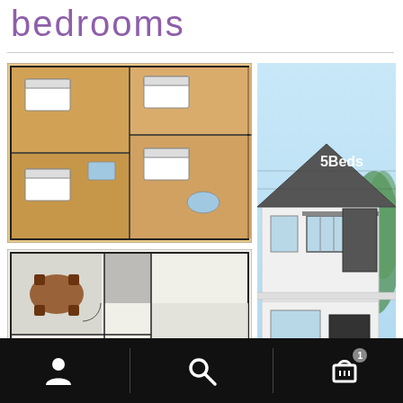bedrooms
[Figure (illustration): Floor plan upper level showing bedroom layout with warm wood-tone floors]
[Figure (illustration): Floor plan lower level showing living area, dining, and garage with car]
[Figure (illustration): Exterior rendering of a modern 2-story house with 5 bedrooms, white walls, grey tile roof, balcony, and parked car. Watermark: samhouseplans.com. Label: 5Beds]
7.5x10.5
Navigation bar with person icon, search icon, and cart icon with badge 1